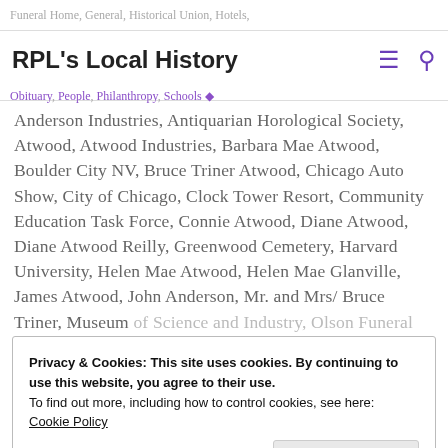RPL's Local History
Anderson Industries, Antiquarian Horological Society, Atwood, Atwood Industries, Barbara Mae Atwood, Boulder City NV, Bruce Triner Atwood, Chicago Auto Show, City of Chicago, Clock Tower Resort, Community Education Task Force, Connie Atwood, Diane Atwood, Diane Atwood Reilly, Greenwood Cemetery, Harvard University, Helen Mae Atwood, Helen Mae Glanville, James Atwood, John Anderson, Mr. and Mrs/ Bruce Triner, Museum of Science and Industry, Olson Funeral Home, Patrice
Privacy & Cookies: This site uses cookies. By continuing to use this website, you agree to their use.
To find out more, including how to control cookies, see here:
Cookie Policy
Independent Institute, Time Museum